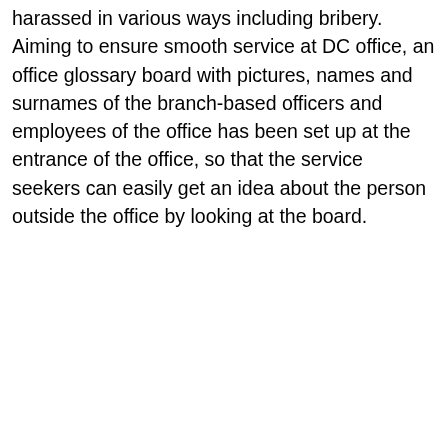harassed in various ways including bribery. Aiming to ensure smooth service at DC office, an office glossary board with pictures, names and surnames of the branch-based officers and employees of the office has been set up at the entrance of the office, so that the service seekers can easily get an idea about the person outside the office by looking at the board.